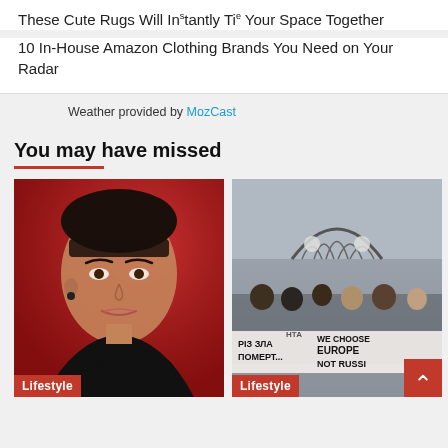These Cute Rugs Will Instantly Tie Your Space Together
10 In-House Amazon Clothing Brands You Need on Your Radar
Weather provided by MozCast
You may have missed
[Figure (photo): Portrait of a young woman with short dark hair and bangs, wearing a black scalloped dress, against a red background. 'Lifestyle' badge at bottom left.]
[Figure (photo): Protest scene outside a building with ornate architecture. People holding banners reading 'РІЗ ЗЛА ПОМЕР...' and 'WE CHOOSE EUROPE NOT RUSSI...'. 'Lifestyle' badge at bottom left. Red scroll-to-top button at bottom right.]